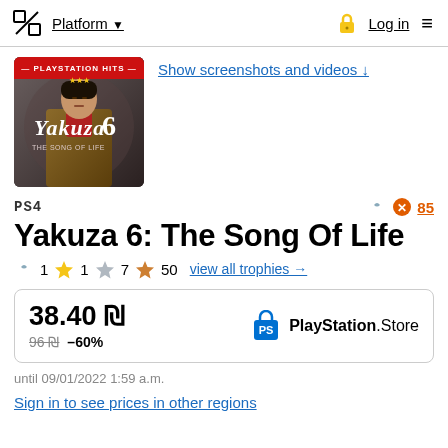Platform ▾   🔒 Log in  ≡
[Figure (screenshot): Yakuza 6: The Song of Life game cover with PlayStation Hits banner]
Show screenshots and videos ↓
PS4
Yakuza 6: The Song Of Life
🏆 1  🏆 1  🏆 7  🏆 50   view all trophies →
| Price | Store |
| --- | --- |
| 38.40 ₪ | PlayStation Store |
| 96 ₪  –60% |  |
until 09/01/2022 1:59 a.m.
Sign in to see prices in other regions